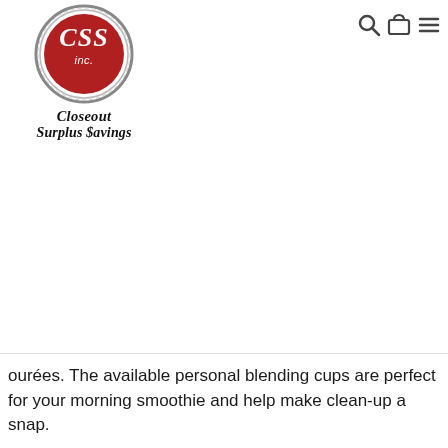[Figure (logo): Closeout Surplus Savings (CSS inc.) logo — a red circle badge with white CSS inc. text, surrounded by a chrome/silver ring, with 'Closeout Surplus Savings' in bold black serif text below]
[Figure (other): Navigation icons: magnifying glass (search), shopping cart, and hamburger menu in dark gray on the top right]
ourées. The available personal blending cups are perfect for your morning smoothie and help make clean-up a snap.